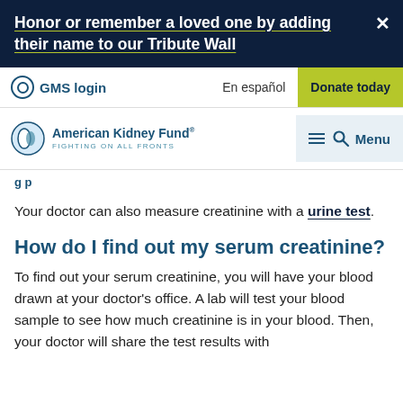Honor or remember a loved one by adding their name to our Tribute Wall
GMS login  En español  Donate today
[Figure (logo): American Kidney Fund logo with tagline FIGHTING ON ALL FRONTS, and a Menu button]
Your doctor can also measure creatinine with a urine test.
How do I find out my serum creatinine?
To find out your serum creatinine, you will have your blood drawn at your doctor's office. A lab will test your blood sample to see how much creatinine is in your blood. Then, your doctor will share the test results with